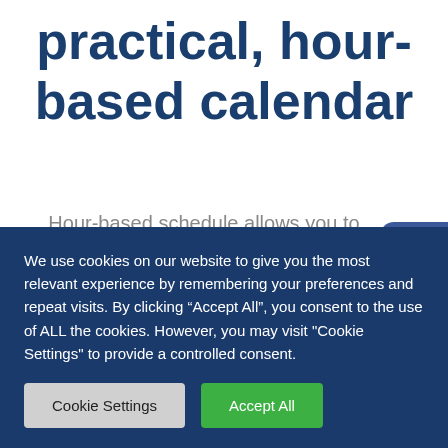practical, hour-based calendar
Hour-based schedule allows you to quickly check the list of treatments on a given day. The calendar is customizable, making all data display exactly as you want.
It takes only a few seconds to add a treatment. Data
[Figure (logo): Facebook logo badge, rounded rectangle with white 'f' on blue background]
We use cookies on our website to give you the most relevant experience by remembering your preferences and repeat visits. By clicking “Accept All”, you consent to the use of ALL the cookies. However, you may visit "Cookie Settings" to provide a controlled consent.